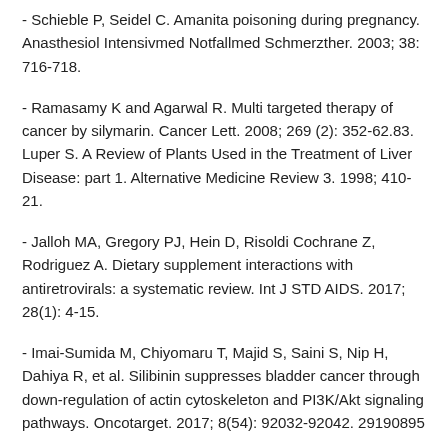- Schieble P, Seidel C. Amanita poisoning during pregnancy. Anasthesiol Intensivmed Notfallmed Schmerzther. 2003; 38: 716-718.
- Ramasamy K and Agarwal R. Multi targeted therapy of cancer by silymarin. Cancer Lett. 2008; 269 (2): 352-62.83. Luper S. A Review of Plants Used in the Treatment of Liver Disease: part 1. Alternative Medicine Review 3. 1998; 410-21.
- Jalloh MA, Gregory PJ, Hein D, Risoldi Cochrane Z, Rodriguez A. Dietary supplement interactions with antiretrovirals: a systematic review. Int J STD AIDS. 2017; 28(1): 4-15.
- Imai-Sumida M, Chiyomaru T, Majid S, Saini S, Nip H, Dahiya R, et al. Silibinin suppresses bladder cancer through down-regulation of actin cytoskeleton and PI3K/Akt signaling pathways. Oncotarget. 2017; 8(54): 92032-92042. 29190895